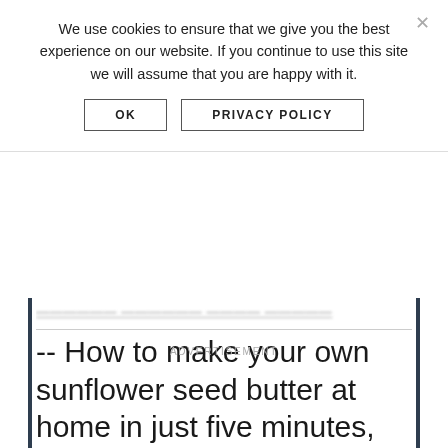We use cookies to ensure that we give you the best experience on our website. If you continue to use this site we will assume that you are happy with it.
OK
PRIVACY POLICY
-- How to make your own sunflower seed butter at home in just five minutes, with 2 ingredients, and at a fraction of the price of store-bought!
ADVERTISEMENT